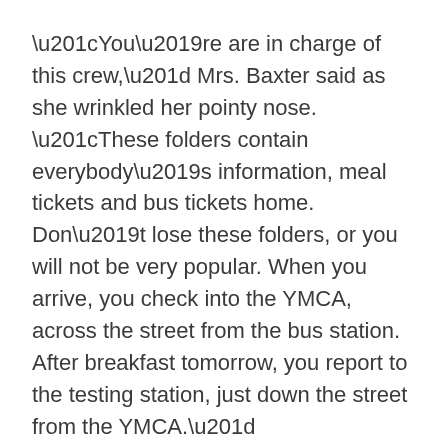“You’re are in charge of this crew,” Mrs. Baxter said as she wrinkled her pointy nose. “These folders contain everybody’s information, meal tickets and bus tickets home. Don’t lose these folders, or you will not be very popular. When you arrive, you check into the YMCA, across the street from the bus station. After breakfast tomorrow, you report to the testing station, just down the street from the YMCA.”
“Wait a minute,” I said. “Who elected me to be in charge?” I was surprised that she knew who I was. We were not wearing name tags and were not otherwise identified.
“Young man, you are the oldest one here, and that makes the leader,” Mrs. Baxter said. “And you know what that means, you pass this physical, and I will se